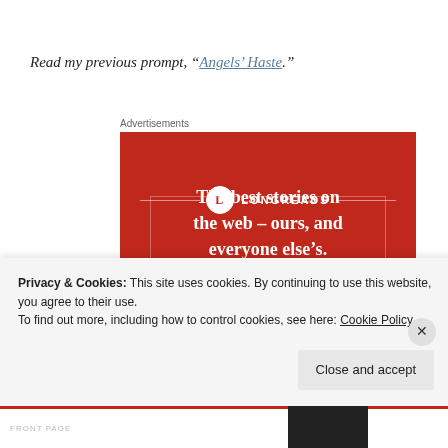Read my previous prompt, “Angels’ Haste.”
Advertisements
[Figure (illustration): Longreads advertisement banner on red background with tagline: The best stories on the web – ours, and everyone else’s.]
Privacy & Cookies: This site uses cookies. By continuing to use this website, you agree to their use.
To find out more, including how to control cookies, see here: Cookie Policy
Close and accept